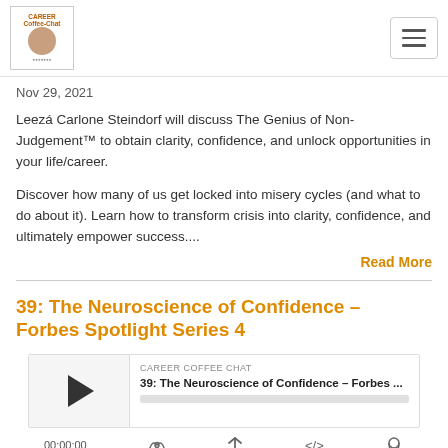Career Coffee Chat logo and hamburger menu
Nov 29, 2021
Leezá Carlone Steindorf will discuss The Genius of Non-Judgement™ to obtain clarity, confidence, and unlock opportunities in your life/career.
Discover how many of us get locked into misery cycles (and what to do about it). Learn how to transform crisis into clarity, confidence, and ultimately empower success....
Read More
39: The Neuroscience of Confidence – Forbes Spotlight Series 4
[Figure (other): Podcast player widget showing Career Coffee Chat branding with play button, episode title '39: The Neuroscience of Confidence – Forbes ...', and a progress bar]
00:00:00